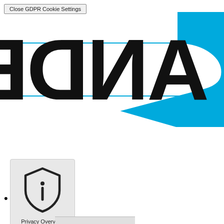Close GDPR Cookie Settings
[Figure (logo): Partial logo showing large black mirrored text 'ANDE' and large cyan letter 'S' partially visible on the right, with two horizontal cyan lines across the logo area]
Privacy Overview
[Figure (illustration): Shield with info icon (i) representing Privacy Overview]